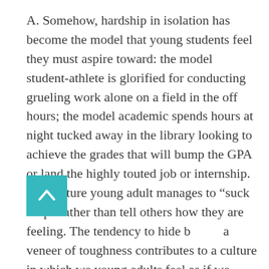A. Somehow, hardship in isolation has become the model that young students feel they must aspire toward: the model student-athlete is glorified for conducting grueling work alone on a field in the off hours; the model academic spends hours at night tucked away in the library looking to achieve the grades that will bump the GPA or land the highly touted job or internship. The mature young adult manages to “suck it up” rather than tell others how they are feeling. The tendency to hide behind a veneer of toughness contributes to a culture in which we young adults feel as if we must persist through and internalize our issues independently without seeking help,